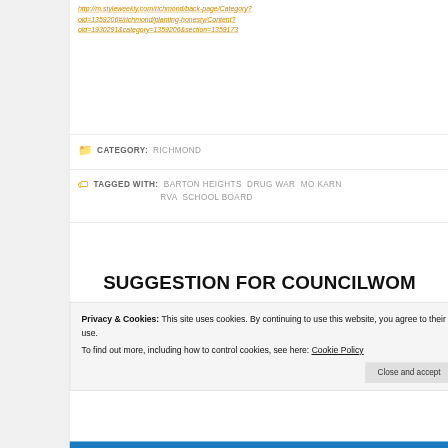http://m.styleweekly.com/richmond/back-page/Category?oid=1359206#/richmond/planting-honesty/Content?oid=1930291&category=1359206&section=1359173
CATEGORY: RICHMOND
TAGGED WITH: BARTON HEIGHTS  DRUG WAR  MO KARN  RVA  SCHOOL BOARD
SUGGESTION FOR COUNCILWOM...
Privacy & Cookies: This site uses cookies. By continuing to use this website, you agree to their use.
To find out more, including how to control cookies, see here: Cookie Policy
Close and accept